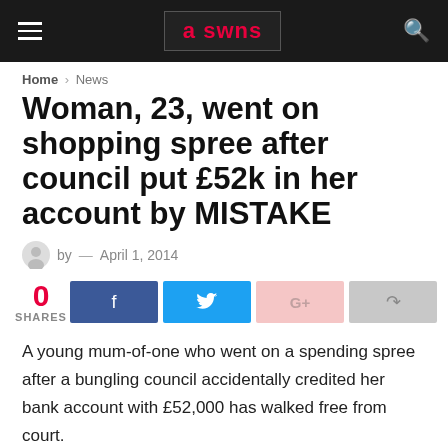a swns
Home > News
Woman, 23, went on shopping spree after council put £52k in her account by MISTAKE
by — April 1, 2014
0 SHARES
A young mum-of-one who went on a spending spree after a bungling council accidentally credited her bank account with £52,000 has walked free from court.
Michaela Hutchings, 23, spent £9,000 on designer